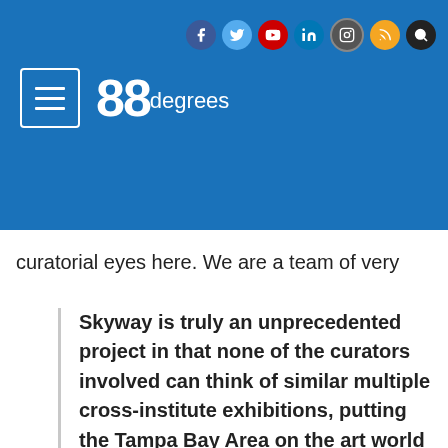83degrees — navigation header with social icons (Facebook, Twitter, YouTube, LinkedIn, Instagram, RSS, Search)
curatorial eyes here. We are a team of very
Skyway is truly an unprecedented project in that none of the curators involved can think of similar multiple cross-institute exhibitions, putting the Tampa Bay Area on the art world map for innovative collaborative